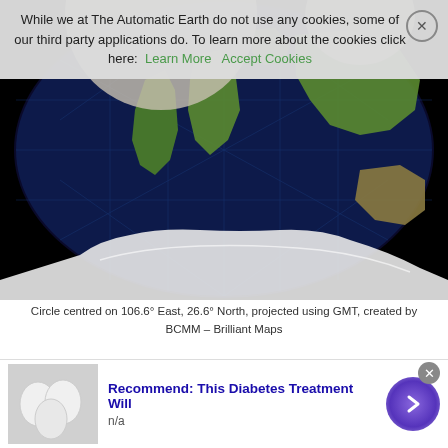While we at The Automatic Earth do not use any cookies, some of our third party applications do. To learn more about the cookies click here: Learn More   Accept Cookies
[Figure (map): Globe map centred on 106.6° East, 26.6° North showing a circular projection with continents visible including South America, Africa, Asia, and Australia against a dark ocean background]
Circle centred on 106.6° East, 26.6° North, projected using GMT, created by BCMM – Brilliant Maps
While the map looks surprising at first glance, it shouldn't really once you consider it contains all or most of the world's most populous countries: China, India, Indonesia (fourth), Pakistan (sixth), Bangladesh (seventh) and Japan (tenth). And according to the World
[Figure (photo): Advertisement showing white eggs with text: Recommend: This Diabetes Treatment Will, n/a]